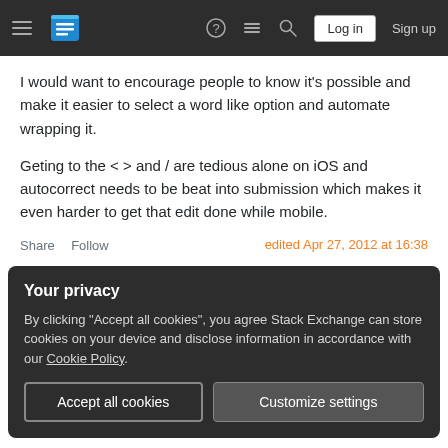Stack Exchange navigation bar with hamburger menu, logo, help, chat, search, Log in, Sign up
I would want to encourage people to know it's possible and make it easier to select a word like option and automate wrapping it.
Geting to the < > and / are tedious alone on iOS and autocorrect needs to be beat into submission which makes it even harder to get that edit done while mobile.
Share  Follow    edited Apr 27, 2012 at 16:38
Your privacy
By clicking "Accept all cookies", you agree Stack Exchange can store cookies on your device and disclose information in accordance with our Cookie Policy.
Accept all cookies   Customize settings
resource. Thanks for bringing it to my attention. I